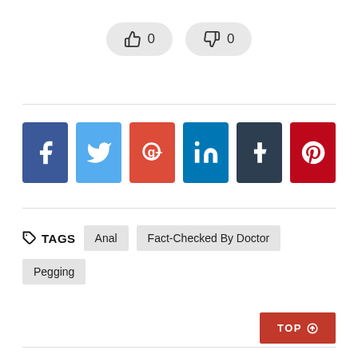[Figure (infographic): Two vote buttons: thumbs up with count 0 and thumbs down with count 0, styled as rounded pill buttons on light grey background]
[Figure (infographic): Row of 6 social media share icons: Facebook (blue), Twitter (light blue), Google+ (red-orange), LinkedIn (blue), Tumblr (dark navy), Pinterest (dark red)]
TAGS   Anal   Fact-Checked By Doctor   Pegging
TOP ↑